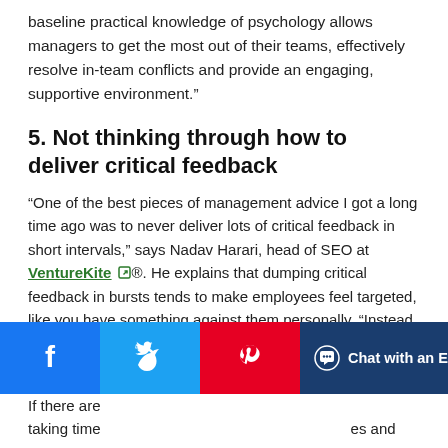baseline practical knowledge of psychology allows managers to get the most out of their teams, effectively resolve in-team conflicts and provide an engaging, supportive environment.”
5. Not thinking through how to deliver critical feedback
“One of the best pieces of management advice I got a long time ago was to never deliver lots of critical feedback in short intervals,” says Nadav Harari, head of SEO at VentureKite ⓾®. He explains that dumping critical feedback in bursts tends to make employees feel targeted, like you have something against them personally. “Instead, prioritize delivering the most important piece of feedback to them at first, and give them some time to apply it.”
If there are … taking time … es and